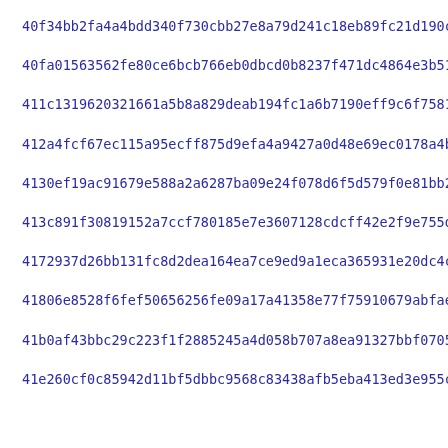40f34bb2fa4a4bdd340f730cbb27e8a79d241c18eb89fc21d190c92dd33d2
40fa01563562fe80ce6bcb766eb0dbcd0b8237f471dc4864e3b517c935a11
411c1319620321661a5b8a829deab194fc1a6b7190eff9c6f75815e8c8224
412a4fcf67ec115a95ecff875d9efa4a9427a0d48e69ec0178a4bccbc9c6a
4130ef19ac91679e588a2a6287ba09e24f078d6f5d579f0e81bb2eb2d594c
413c891f30819152a7ccf780185e7e3607128cdcff42e2f9e755d7c1aa31a
4172937d26bb131fc8d2dea164ea7ce9ed9a1eca365931e20dc4c9627ab35
41806e8528f6fef50656256fe09a17a41358e77f75910679abfae72bcc1aa
41b0af43bbc29c223f1f2885245a4d058b707a8ea91327bbf0705dfd3fd0e
41e260cf0c85942d11bf5dbbc9568c83438afb5eba413ed3e955c23bc16fe